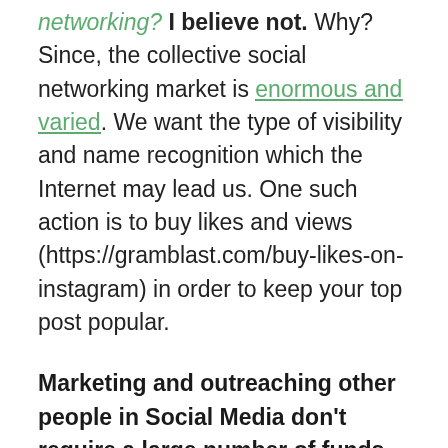networking? I believe not. Why? Since, the collective social networking market is enormous and varied. We want the type of visibility and name recognition which the Internet may lead us. One such action is to buy likes and views (https://gramblast.com/buy-likes-on-instagram) in order to keep your top post popular.
Marketing and outreaching other people in Social Media don't require a large number of funds, either. In reality, the whole effort could be restricted to only a couple of platforms along with a limited number of